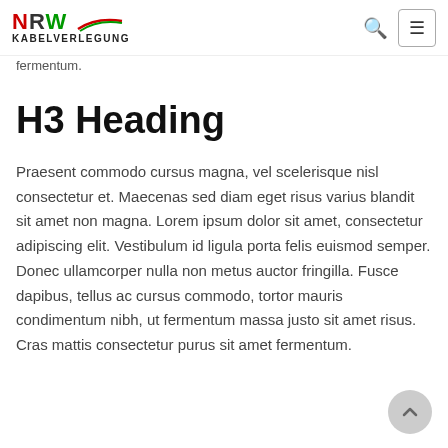NRW KABELVERLEGUNG
fermentum.
H3 Heading
Praesent commodo cursus magna, vel scelerisque nisl consectetur et. Maecenas sed diam eget risus varius blandit sit amet non magna. Lorem ipsum dolor sit amet, consectetur adipiscing elit. Vestibulum id ligula porta felis euismod semper. Donec ullamcorper nulla non metus auctor fringilla. Fusce dapibus, tellus ac cursus commodo, tortor mauris condimentum nibh, ut fermentum massa justo sit amet risus. Cras mattis consectetur purus sit amet fermentum.